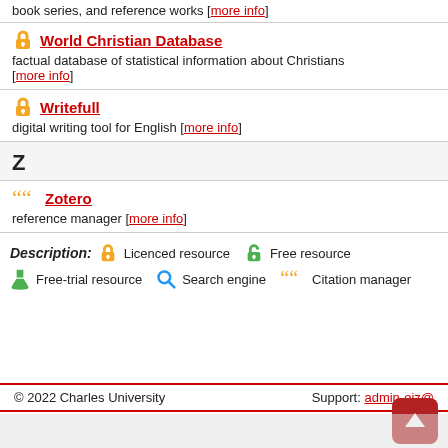book series, and reference works [more info]
World Christian Database — factual database of statistical information about Christians [more info]
Writefull — digital writing tool for English [more info]
Z
Zotero — reference manager [more info]
Description: Licenced resource | Free resource | Free-trial resource | Search engine | Citation manager
© 2022 Charles University    Support: admin-eiz@...